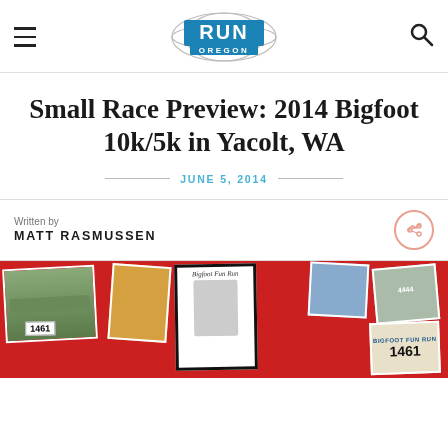Run Oregon (logo header with hamburger menu and search icon)
Small Race Preview: 2014 Bigfoot 10k/5k in Yacolt, WA
JUNE 5, 2014
Written by
MATT RASMUSSEN
[Figure (photo): Collage of race photos on a red background featuring participants in the Bigfoot Fun Run, race bibs numbered 1461, and a Bigfoot mascot illustration]